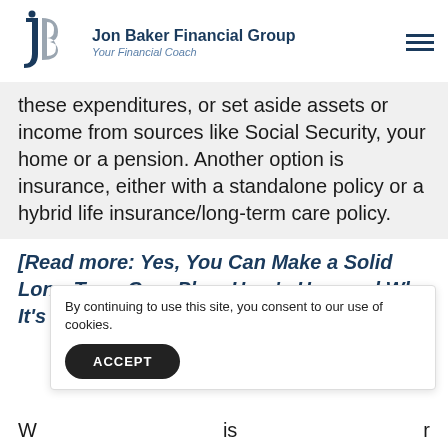Jon Baker Financial Group — Your Financial Coach
these expenditures, or set aside assets or income from sources like Social Security, your home or a pension. Another option is insurance, either with a standalone policy or a hybrid life insurance/long-term care policy.
[Read more: Yes, You Can Make a Solid Long-Term Care Plan. Here's How and Why It's Important]
By continuing to use this site, you consent to our use of cookies.
W... is... r